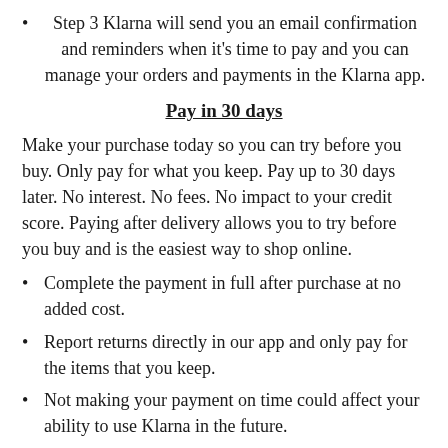Step 3 Klarna will send you an email confirmation and reminders when it's time to pay and you can manage your orders and payments in the Klarna app.
Pay in 30 days
Make your purchase today so you can try before you buy. Only pay for what you keep. Pay up to 30 days later. No interest. No fees. No impact to your credit score. Paying after delivery allows you to try before you buy and is the easiest way to shop online.
Complete the payment in full after purchase at no added cost.
Report returns directly in our app and only pay for the items that you keep.
Not making your payment on time could affect your ability to use Klarna in the future.
Debt collection agencies are used as a last resort.